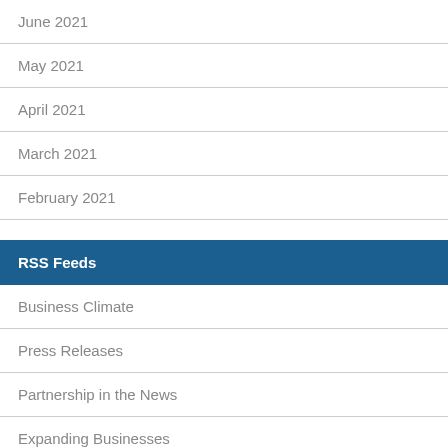June 2021
May 2021
April 2021
March 2021
February 2021
RSS Feeds
Business Climate
Press Releases
Partnership in the News
Expanding Businesses